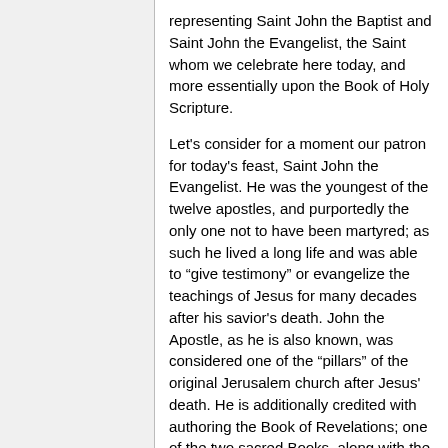representing Saint John the Baptist and Saint John the Evangelist, the Saint whom we celebrate here today, and more essentially upon the Book of Holy Scripture.
Let's consider for a moment our patron for today's feast, Saint John the Evangelist. He was the youngest of the twelve apostles, and purportedly the only one not to have been martyred; as such he lived a long life and was able to “give testimony” or evangelize the teachings of Jesus for many decades after his savior's death. John the Apostle, as he is also known, was considered one of the “pillars” of the original Jerusalem church after Jesus' death. He is additionally credited with authoring the Book of Revelations; one of the two sacred Books, along with the book of Nature, that we reference in the 1st degree lecture as key sources of guidance when building our spiritual temple. It is then no “idle or unmeaning” coincidence that we choose this Saint's day to evangelize our faith in the fraternity; the ceremony of installation of officers is a